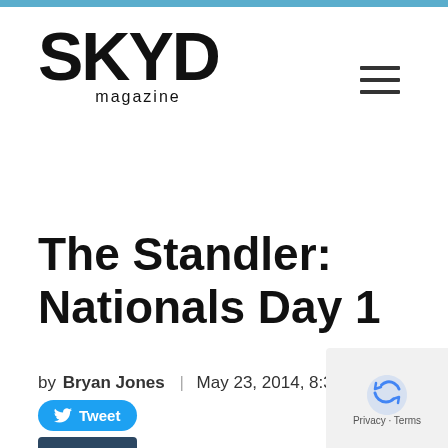[Figure (logo): SKYD magazine logo in bold black text]
The Standler: Nationals Day 1
by Bryan Jones | May 23, 2014, 8:36pm  0
[Figure (screenshot): Tweet button (blue rounded) and Tumblr button (dark navy)]
[Figure (screenshot): reCAPTCHA Privacy · Terms box in bottom right corner]